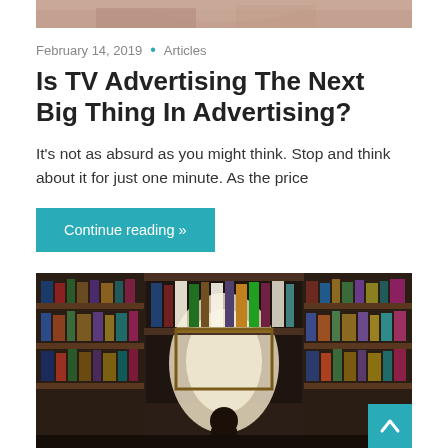[Figure (photo): Top portion of a photo, cropped, showing what appears to be a person]
February 14, 2019 • Articles
Is TV Advertising The Next Big Thing In Advertising?
It's not as absurd as you might think. Stop and think about it for just one minute. As the price
Continue reading »
[Figure (photo): Interior of a bookstore with shelves full of books on all sides and a person seated in the center facing a bright light source]